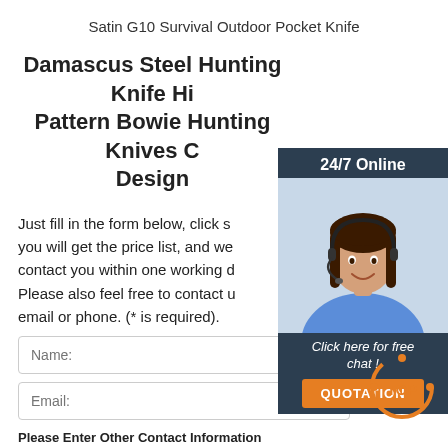Satin G10 Survival Outdoor Pocket Knife
Damascus Steel Hunting Knife Hi Pattern Bowie Hunting Knives C Design
Just fill in the form below, click s you will get the price list, and we contact you within one working d Please also feel free to contact u email or phone. (* is required).
[Figure (illustration): Customer service representative with headset, 24/7 Online chat widget with 'Click here for free chat!' text and orange QUOTATION button]
Name:
Email:
Please Enter Other Contact Information
[Figure (illustration): Orange TOP scroll-to-top button icon with arrow]